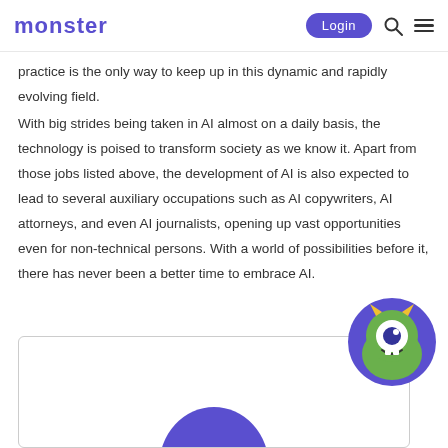monster | Login
practice is the only way to keep up in this dynamic and rapidly evolving field.
With big strides being taken in AI almost on a daily basis, the technology is poised to transform society as we know it. Apart from those jobs listed above, the development of AI is also expected to lead to several auxiliary occupations such as AI copywriters, AI attorneys, and even AI journalists, opening up vast opportunities even for non-technical persons. With a world of possibilities before it, there has never been a better time to embrace AI.
[Figure (illustration): Bottom section showing a purple humanoid figure partially visible at bottom of card box, and a circular monster mascot icon (green monster face with one eye, yellow horns, on purple background) in the lower right area.]